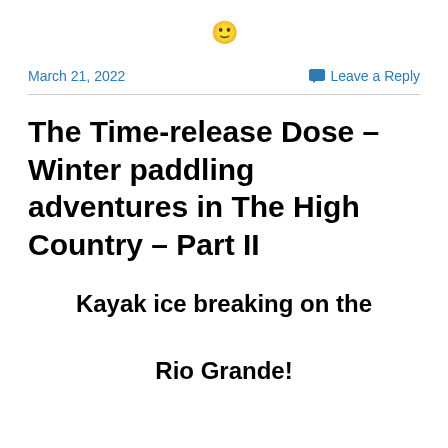[Figure (illustration): Smiley face emoji 🙂]
March 21, 2022
Leave a Reply
The Time-release Dose – Winter paddling adventures in The High Country – Part II
Kayak ice breaking on the

Rio Grande!